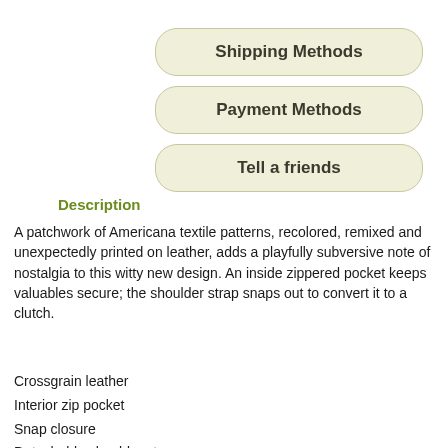[Figure (screenshot): Three navigation buttons: Shipping Methods, Payment Methods, Tell a friends]
Description
A patchwork of Americana textile patterns, recolored, remixed and unexpectedly printed on leather, adds a playfully subversive note of nostalgia to this witty new design. An inside zippered pocket keeps valuables secure; the shoulder strap snaps out to convert it to a clutch.
Crossgrain leather
Interior zip pocket
Snap closure
Detachable shoulder strap
11" (L) x 6 1/4" (H)